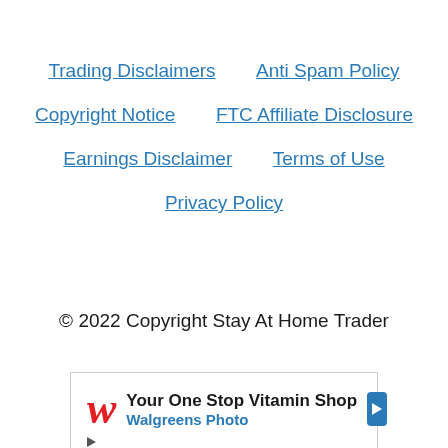Trading Disclaimers
Anti Spam Policy
Copyright Notice
FTC Affiliate Disclosure
Earnings Disclaimer
Terms of Use
Privacy Policy
© 2022 Copyright Stay At Home Trader
[Figure (illustration): Walgreens advertisement: Your One Stop Vitamin Shop - Walgreens Photo, with Walgreens logo W in red italic, blue arrow icon, and ad control icons]